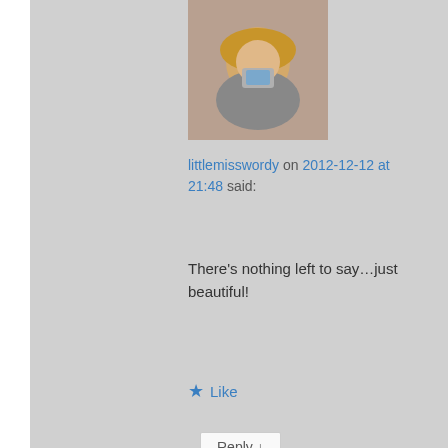[Figure (photo): Avatar photo of littlemisswordy — a person with curly blonde hair holding a smartphone]
littlemisswordy on 2012-12-12 at 21:48 said:
There's nothing left to say…just beautiful!
★ Like
Reply ↓
[Figure (photo): Nested comment avatar thumbnail — landscape photo]
merlinspielen on 2012-12-12 at
Advertisements
[Figure (screenshot): DuckDuckGo advertisement: Search, browse, and email with more privacy. All in One Free App — with phone mockup and DuckDuckGo logo]